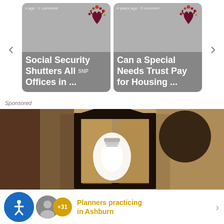[Figure (screenshot): Website carousel with two article cards. Left card: 'Social Security Shutters All Offices in ...' with SNP logo. Right card: 'Can a Special Needs Trust Pay for Housing ...' with SNP logo. Navigation arrows on sides.]
Sponsored
[Figure (photo): Close-up photo of a black metal outdoor wall lantern light fixture mounted on a rough stucco wall, with a white light bulb visible inside.]
[Figure (infographic): Bottom notification bar showing accessibility icon, user avatar, +31 count badge in gold, and text 'Planners practicing in Ashburn' in gold color with a right arrow.]